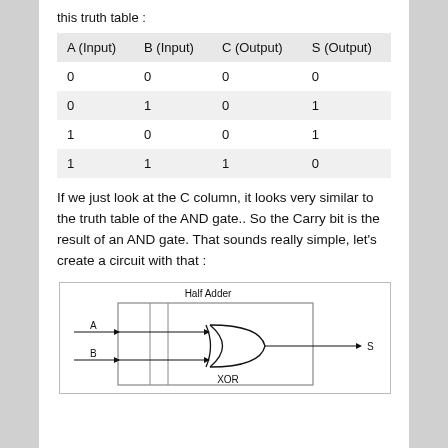this truth table :
| A (Input) | B (Input) | C (Output) | S (Output) |
| --- | --- | --- | --- |
| 0 | 0 | 0 | 0 |
| 0 | 1 | 0 | 1 |
| 1 | 0 | 0 | 1 |
| 1 | 1 | 1 | 0 |
If we just look at the C column, it looks very similar to the truth table of the AND gate.. So the Carry bit is the result of an AND gate. That sounds really simple, let’s create a circuit with that :
[Figure (engineering-diagram): Half Adder circuit diagram showing inputs A and B feeding into a box, with a XOR gate producing output S, and partial view of AND gate for carry output C.]